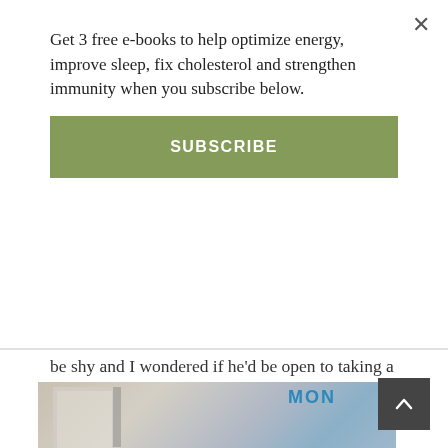Get 3 free e-books to help optimize energy, improve sleep, fix cholesterol and strengthen immunity when you subscribe below.
SUBSCRIBE
be shy and I wondered if he'd be open to taking a photo with me.  Once again I asked myself, “what’s the worst that could happen?”  He said yes and below is a photo of us which I’ll cherish for the rest of my life!
[Figure (photo): A partially visible indoor/outdoor photo showing a window, a wall, and a partial blue sign reading 'MON' (partially cut off), with a scroll-to-top button overlay in the bottom right corner.]